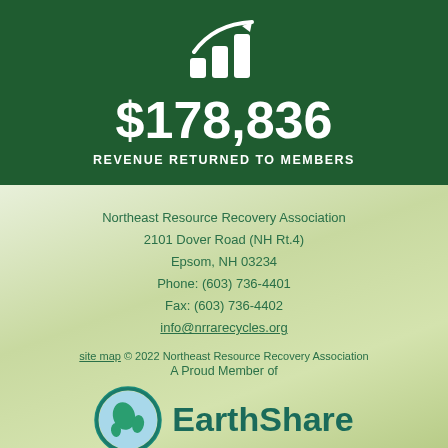[Figure (infographic): Bar chart growth icon (white bars with upward arrow) on dark green background]
$178,836
REVENUE RETURNED TO MEMBERS
Northeast Resource Recovery Association
2101 Dover Road (NH Rt.4)
Epsom, NH 03234
Phone: (603) 736-4401
Fax: (603) 736-4402
info@nrrarecycles.org
site map © 2022 Northeast Resource Recovery Association
A Proud Member of
[Figure (logo): EarthShare logo: globe icon with teal circle and EarthShare text in bold teal]